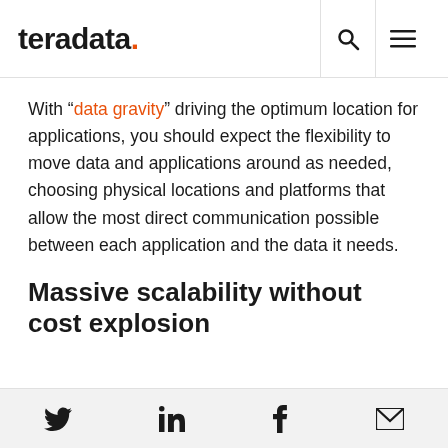teradata. [search icon] [menu icon]
With “data gravity” driving the optimum location for applications, you should expect the flexibility to move data and applications around as needed, choosing physical locations and platforms that allow the most direct communication possible between each application and the data it needs.
Massive scalability without cost explosion
[Twitter icon] [LinkedIn icon] [Facebook icon] [Email icon]